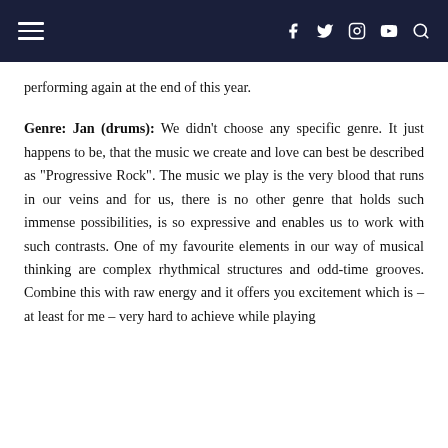Navigation bar with hamburger menu, social icons (f, twitter, instagram, youtube) and search
performing again at the end of this year.
Genre: Jan (drums): We didn't choose any specific genre. It just happens to be, that the music we create and love can best be described as “Progressive Rock”. The music we play is the very blood that runs in our veins and for us, there is no other genre that holds such immense possibilities, is so expressive and enables us to work with such contrasts. One of my favourite elements in our way of musical thinking are complex rhythmical structures and odd-time grooves. Combine this with raw energy and it offers you excitement which is – at least for me – very hard to achieve while playing